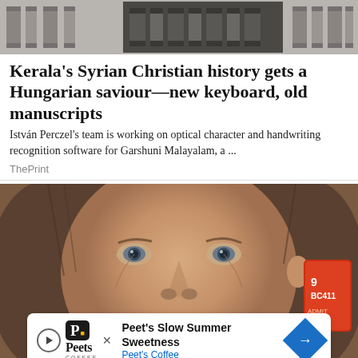[Figure (photo): Decorative header strip with column/pillar pattern in grey tones]
Kerala's Syrian Christian history gets a Hungarian saviour—new keyboard, old manuscripts
István Perczel's team is working on optical character and handwriting recognition software for Garshuni Malayalam, a ...
ThePrint
[Figure (photo): Close-up photo of a man with tanned skin, brown hair, smiling with white teeth, wearing earrings. An orange tag is visible on the right side. Partial advertisement overlay at bottom.]